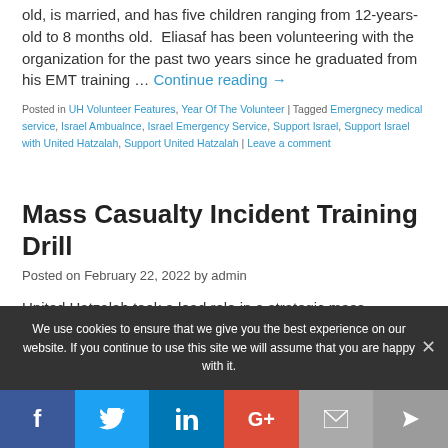old, is married, and has five children ranging from 12-years-old to 8 months old. Eliasaf has been volunteering with the organization for the past two years since he graduated from his EMT training … Continue reading →
Posted in UH Volunteer Features, Year Of The Volunteer | Tagged Emergnecy medical service, Israel Ambualnce, Israel Emergency Service, Support Israel, Support Israel with United Hatzalah, Support United Hatzalah | Leave a comment
Mass Casualty Incident Training Drill
Posted on February 22, 2022 by admin
United Hatzalah took a lead role in a strategic mass
We use cookies to ensure that we give you the best experience on our website. If you continue to use this site we will assume that you are happy with it.